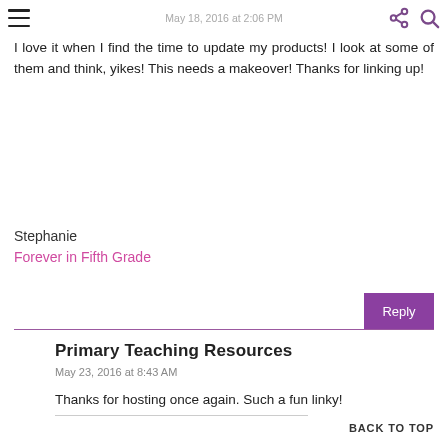May 18, 2016 at 2:06 PM
I love it when I find the time to update my products! I look at some of them and think, yikes! This needs a makeover! Thanks for linking up!
Stephanie
Forever in Fifth Grade
Reply
Primary Teaching Resources
May 23, 2016 at 8:43 AM
Thanks for hosting once again. Such a fun linky!
BACK TO TOP